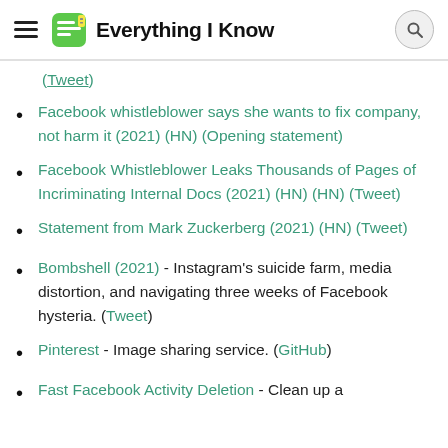Everything I Know
(Tweet)
Facebook whistleblower says she wants to fix company, not harm it (2021) (HN) (Opening statement)
Facebook Whistleblower Leaks Thousands of Pages of Incriminating Internal Docs (2021) (HN) (HN) (Tweet)
Statement from Mark Zuckerberg (2021) (HN) (Tweet)
Bombshell (2021) - Instagram's suicide farm, media distortion, and navigating three weeks of Facebook hysteria. (Tweet)
Pinterest - Image sharing service. (GitHub)
Fast Facebook Activity Deletion - Clean up a